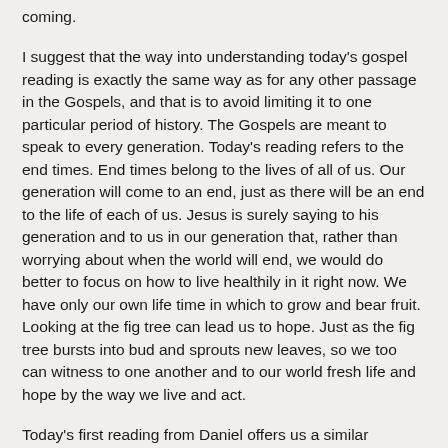coming.
I suggest that the way into understanding today's gospel reading is exactly the same way as for any other passage in the Gospels, and that is to avoid limiting it to one particular period of history. The Gospels are meant to speak to every generation. Today's reading refers to the end times. End times belong to the lives of all of us. Our generation will come to an end, just as there will be an end to the life of each of us. Jesus is surely saying to his generation and to us in our generation that, rather than worrying about when the world will end, we would do better to focus on how to live healthily in it right now. We have only our own life time in which to grow and bear fruit. Looking at the fig tree can lead us to hope. Just as the fig tree bursts into bud and sprouts new leaves, so we too can witness to one another and to our world fresh life and hope by the way we live and act.
Today's first reading from Daniel offers us a similar message on how to live productive, influential lives: “Those who are wise will shine as brightly as the expanse of the heavens, and those who have instructed many in uprightness, as bright as